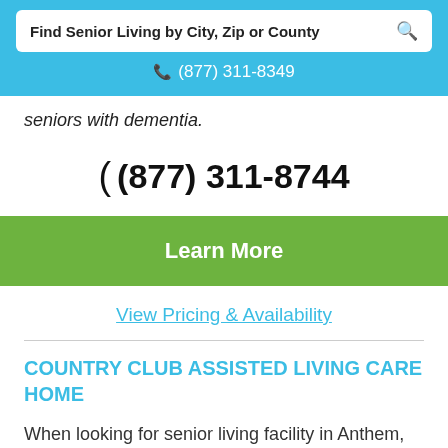Find Senior Living by City, Zip or County
(877) 311-8349
seniors with dementia.
(877) 311-8744
Learn More
View Pricing & Availability
COUNTRY CLUB ASSISTED LIVING CARE HOME
When looking for senior living facility in Anthem, Arizona, consider Country Club